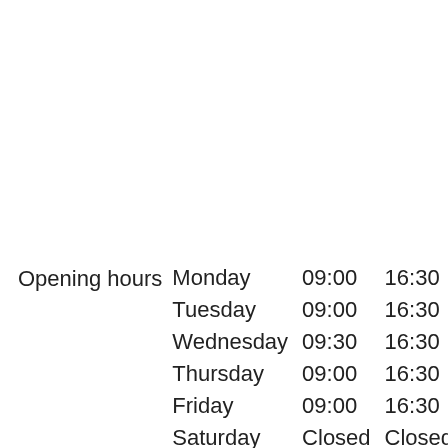| Day | Open | Close |
| --- | --- | --- |
| Monday | 09:00 | 16:30 |
| Tuesday | 09:00 | 16:30 |
| Wednesday | 09:30 | 16:30 |
| Thursday | 09:00 | 16:30 |
| Friday | 09:00 | 16:30 |
| Saturday | Closed | Closed |
| Sunday | Closed | Closed |